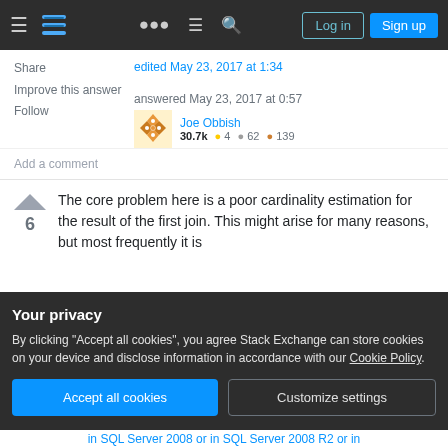Stack Exchange navigation bar with hamburger menu, logo, help, chat, search icons, Log in and Sign up buttons
Share | Improve this answer | Follow
edited May 23, 2017 at 1:34
answered May 23, 2017 at 0:57
[Figure (other): Stack Overflow user avatar for Joe Obbish - orange diamond pattern]
Joe Obbish 30.7k 4 62 139
Add a comment
The core problem here is a poor cardinality estimation for the result of the first join. This might arise for many reasons, but most frequently it is
Your privacy
By clicking "Accept all cookies", you agree Stack Exchange can store cookies on your device and disclose information in accordance with our Cookie Policy.
Accept all cookies | Customize settings
in SQL Server 2008 or in SQL Server 2008 R2 or in